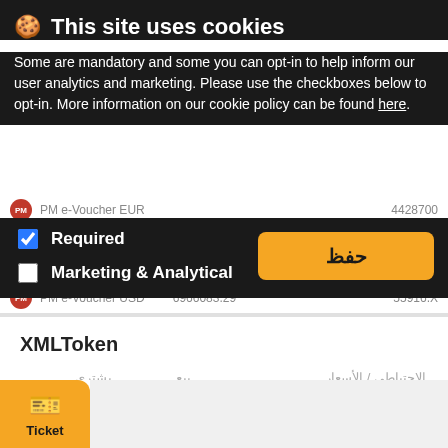🍪 This site uses cookies
Some are mandatory and some you can opt-in to help inform our user analytics and marketing. Please use the checkboxes below to opt-in. More information on our cookie policy can be found here.
Required (checked)
Marketing & Analytical (unchecked)
حفظ
PM e-Voucher EUR   4428700
PM e-Voucher USD   6966083.29   55916.X
XMLToken
الاحتياطي / الأسعار   بيع   يشترى
XMLToken USD   300000.00   200000.00
Ticket